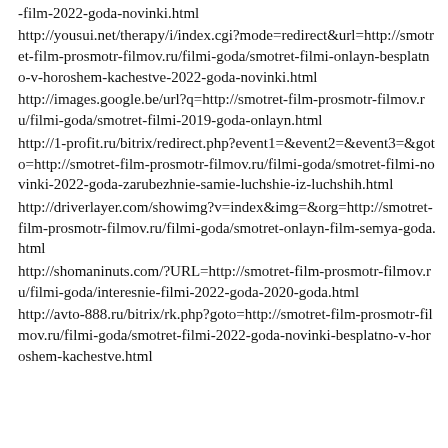return_url=http://smotret-film-prosmotr-filmov.ru/filmi-goda/smotret-film-2022-goda-novinki.html
http://yousui.net/therapy/i/index.cgi?mode=redirect&url=http://smotret-film-prosmotr-filmov.ru/filmi-goda/smotret-filmi-onlayn-besplatno-v-horoshem-kachestve-2022-goda-novinki.html
http://images.google.be/url?q=http://smotret-film-prosmotr-filmov.ru/filmi-goda/smotret-filmi-2019-goda-onlayn.html
http://1-profit.ru/bitrix/redirect.php?event1=&event2=&event3=&goto=http://smotret-film-prosmotr-filmov.ru/filmi-goda/smotret-filmi-novinki-2022-goda-zarubezhnie-samie-luchshie-iz-luchshih.html
http://driverlayer.com/showimg?v=index&img=&org=http://smotret-film-prosmotr-filmov.ru/filmi-goda/smotret-onlayn-film-semya-goda.html
http://shomaninuts.com/?URL=http://smotret-film-prosmotr-filmov.ru/filmi-goda/interesnie-filmi-2022-goda-2020-goda.html
http://avto-888.ru/bitrix/rk.php?goto=http://smotret-film-prosmotr-filmov.ru/filmi-goda/smotret-filmi-2022-goda-novinki-besplatno-v-horoshem-kachestve.html